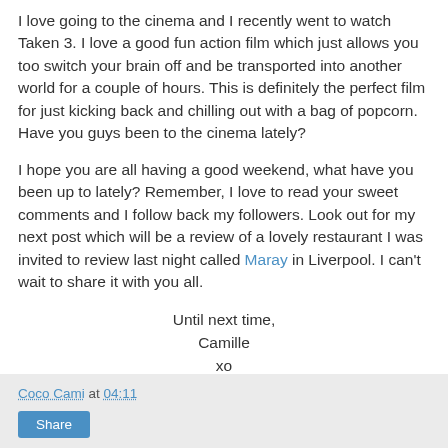I love going to the cinema and I recently went to watch Taken 3. I love a good fun action film which just allows you too switch your brain off and be transported into another world for a couple of hours. This is definitely the perfect film for just kicking back and chilling out with a bag of popcorn. Have you guys been to the cinema lately?
I hope you are all having a good weekend, what have you been up to lately? Remember, I love to read your sweet comments and I follow back my followers. Look out for my next post which will be a review of a lovely restaurant I was invited to review last night called Maray in Liverpool. I can't wait to share it with you all.
Until next time,
Camille
xo
Coco Cami at 04:11
Share